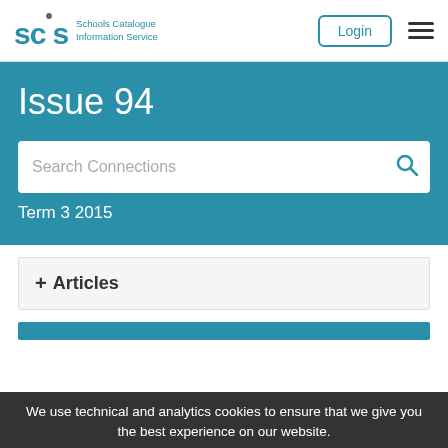SCIS Schools Catalogue Information Service | Login
Issue 94
Search Connections
Term 3 2015
+ Articles
We use technical and analytics cookies to ensure that we give you the best experience on our website.